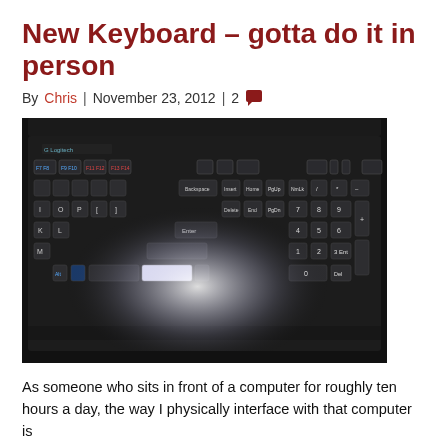New Keyboard – gotta do it in person
By Chris | November 23, 2012 | 2
[Figure (photo): Photo of a Logitech keyboard, partially lit with flash reflection, showing function keys, numpad, and main keyboard area on a dark background.]
As someone who sits in front of a computer for roughly ten hours a day, the way I physically interface with that computer is